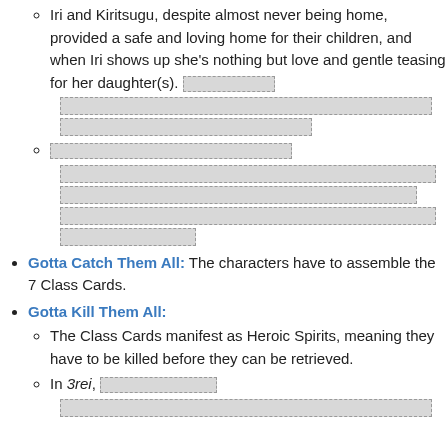Iri and Kiritsugu, despite almost never being home, provided a safe and loving home for their children, and when Iri shows up she's nothing but love and gentle teasing for her daughter(s). [redacted]
[redacted sub-item]
Gotta Catch Them All: The characters have to assemble the 7 Class Cards.
Gotta Kill Them All:
The Class Cards manifest as Heroic Spirits, meaning they have to be killed before they can be retrieved.
In 3rei, [redacted]